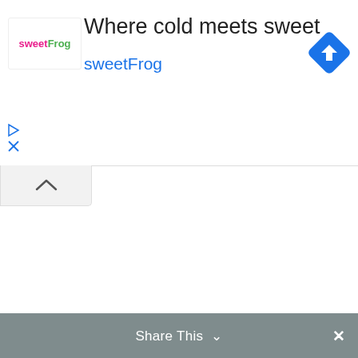[Figure (screenshot): SweetFrog advertisement banner showing logo, headline 'Where cold meets sweet', brand name 'sweetFrog', navigation arrow icon, and UI controls]
Where cold meets sweet
sweetFrog
[Figure (screenshot): Collapse/chevron up tab button]
Share This ∨  ×